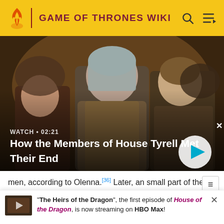GAME OF THRONES WIKI
[Figure (screenshot): Video thumbnail showing characters from Game of Thrones (House Tyrell scene) with overlay text 'WATCH • 02:21' and title 'How the Members of House Tyrell Met Their End', with a play button]
men, according to Olenna.[36] Later, an small part of the forces is annihilated by the Lannister-Tarly forces at th
"The Heirs of the Dragon", the first episode of House of the Dragon, is now streaming on HBO Max!